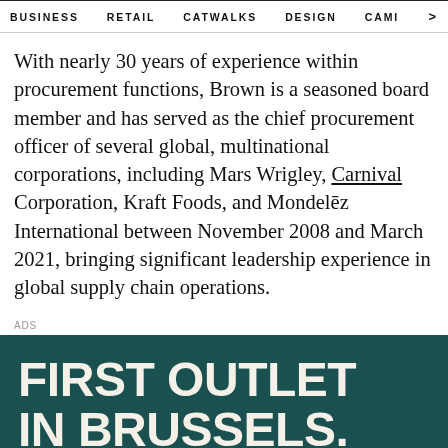BUSINESS   RETAIL   CATWALKS   DESIGN   CAMI  >
With nearly 30 years of experience within procurement functions, Brown is a seasoned board member and has served as the chief procurement officer of several global, multinational corporations, including Mars Wrigley, Carnival Corporation, Kraft Foods, and Mondelēz International between November 2008 and March 2021, bringing significant leadership experience in global supply chain operations.
ADS
[Figure (infographic): Dark teal advertisement banner with bold white text reading 'FIRST OUTLET IN BRUSSELS.']